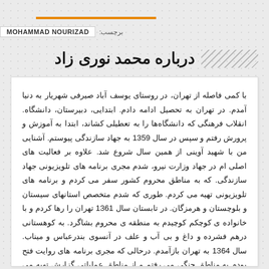برچسب: MOHAMMAD NOURIZAD
درباره محمد نوری زاد
با کمی فاصله از تهران، در روستای یوسف آباد صیرفی شهریار به دنیا آمدم. در تهران به تحصیل ادامه دادم. ابتدایی، دبیرستان، دانشگاه. انقلاب فرهنگی که دانشگاه‌ها را به تعطیلی کشاند، ابتدا به آموزش و پرورش رفتم و سپس در سال 1359 به جهاد سازندگی پیوستم. آشنایی من با شهید آوینی از همین سال شروع شد. علاوه بر فعالیت های اصلی ام در جهاد وزارت نیرو، شدم مجری برنامه های تلویزیونی جهاد سازندگی. که به مناطق محروم کشور سفر می کردم و برنامه های تلویزیونی تهیه می کردم. طوری که شدم متخصص استانهای سیستان و بلوچستان و هرمزگان. در تابستان سال 1361 تهران را رها کردم و با خانواده ی کوچکم کوچیدم به منطقه ی محروم بشاگرد. به کوهستانی درهم فشرده و داغ و بی آب و علف در آنسوی بندرعباس و میناب. سال 1364 به تهران بازآمدم. درحالی که مجری برنامه های روایت فتح بودم به مناطق جنگی می رفتم و از مناطق عملیاتی گزارش تهیه می کردم. بعد از جنگ، به مستندسازی روی آوردم.